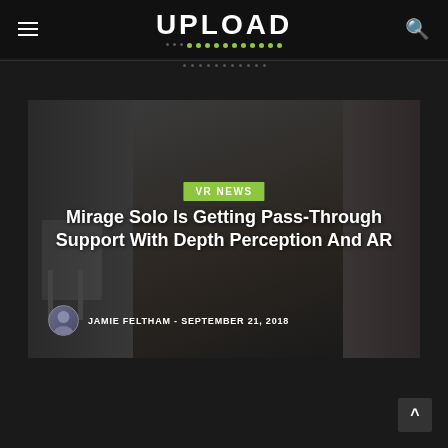UPLOAD
[Figure (screenshot): Hero image with dark background showing a person using VR headset in a dimly lit room]
VR NEWS
Mirage Solo Is Getting Pass-Through Support With Depth Perception And AR
JAMIE FELTHAM - SEPTEMBER 21, 2018